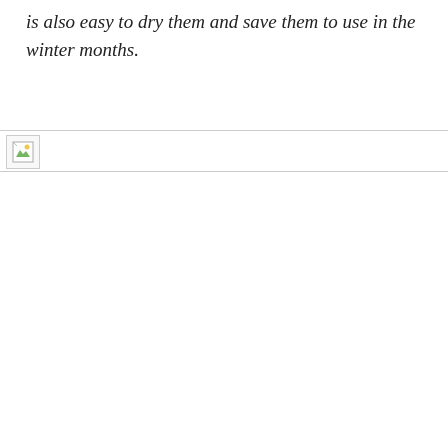is also easy to dry them and save them to use in the winter months.
[Figure (photo): Broken/missing image placeholder icon with a small landscape thumbnail indicator]